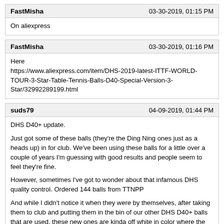FastMisha | 03-30-2019, 01:15 PM
On aliexpress
FastMisha | 03-30-2019, 01:16 PM
Here https://www.aliexpress.com/item/DHS-2019-latest-ITTF-WORLD-TOUR-3-Star-Table-Tennis-Balls-D40-Special-Version-3-Star/32992289199.html
suds79 | 04-09-2019, 01:44 PM
DHS D40+ update.

Just got some of these balls (they're the Ding Ning ones just as a heads up) in for club. We've been using these balls for a little over a couple of years I'm guessing with good results and people seem to feel they're fine.

However, sometimes I've got to wonder about that infamous DHS quality control. Ordered 144 balls from TTNPP

And while I didn't notice it when they were by themselves, after taking them to club and putting them in the bin of our other DHS D40+ balls that are used, these new ones are kinda off white in color where the old ones are pure white.

I did a bounce test and checked the seam. Hit with them. I couldn't tell any difference. But still, they look kinda off-white or even ivory color in comparison.

Sigh. While I'd prefer them to be more white, as long as they play the same, I guess it's not that big of a deal

18886

The used, white ball is on the left. You can tell by the table stuffs. The new, yellowish ball is on the right.